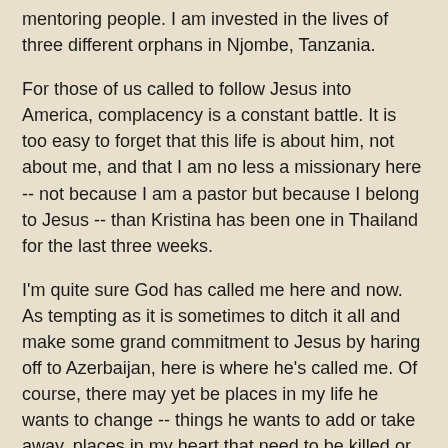mentoring people. I am invested in the lives of three different orphans in Njombe, Tanzania.
For those of us called to follow Jesus into America, complacency is a constant battle. It is too easy to forget that this life is about him, not about me, and that I am no less a missionary here -- not because I am a pastor but because I belong to Jesus -- than Kristina has been one in Thailand for the last three weeks.
I'm quite sure God has called me here and now. As tempting as it is sometimes to ditch it all and make some grand commitment to Jesus by haring off to Azerbaijan, here is where he's called me. Of course, there may yet be places in my life he wants to change -- things he wants to add or take away, places in my heart that need to be killed or resurrected. So I struggle to stay close to him, to give him access to every part of my life and my soul so that he can shape me as he wants. I struggle to see my life and the culture in which I live through his eyes. I come back again and again to the manger, to the cross, so that I keep my eyes focused on Jesus and not on myself. And as I fall over